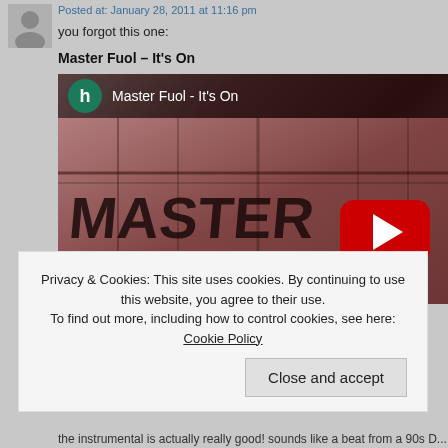Posted at: January 28, 2011 at 11:16 pm
you forgot this one:
Master Fuol – It's On
[Figure (screenshot): YouTube video thumbnail for 'Master Fuol - It's On' showing a graffiti urban background in red/black tones with a YouTube play button overlay and channel icon 'h' in teal circle]
Privacy & Cookies: This site uses cookies. By continuing to use this website, you agree to their use.
To find out more, including how to control cookies, see here: Cookie Policy
Close and accept
the instrumental is actually really good! sounds like a beat from a 90s DJ